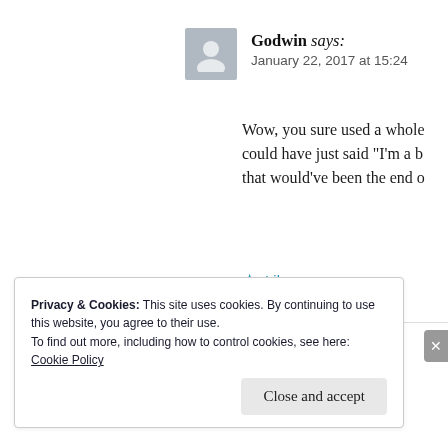Godwin says: January 22, 2017 at 15:24
Wow, you sure used a whole could have just said “I’m a b that would’ve been the end o
★ Like
Privacy & Cookies: This site uses cookies. By continuing to use this website, you agree to their use.
To find out more, including how to control cookies, see here: Cookie Policy
Close and accept